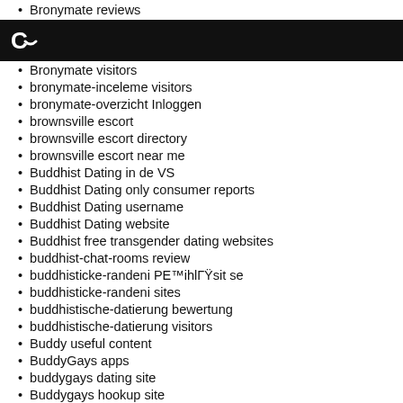Bronymate reviews
Bronymate visitors
bronymate-inceleme visitors
bronymate-overzicht Inloggen
brownsville escort
brownsville escort directory
brownsville escort near me
Buddhist Dating in de VS
Buddhist Dating only consumer reports
Buddhist Dating username
Buddhist Dating website
Buddhist free transgender dating websites
buddhist-chat-rooms review
buddhisticke-randeni PE™ihlГŸsit se
buddhisticke-randeni sites
buddhistische-datierung bewertung
buddhistische-datierung visitors
Buddy useful content
BuddyGays apps
buddygays dating site
Buddygays hookup site
Buddygays iniciar sesion
buddygays obsluga klienta
buddygays pc